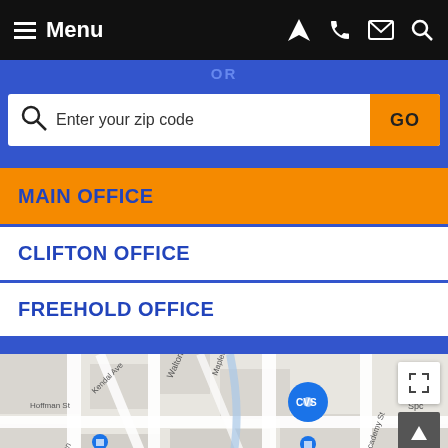Menu
OR
Enter your zip code  GO
MAIN OFFICE
CLIFTON OFFICE
FREEHOLD OFFICE
[Figure (map): Google Maps view showing Columbia High School area with street names including Hoffman St, Walton Rd, Maplewood, Jefferson Ave, Kendal Ave, Hixon Pl, Academy St, Parker Ave, Durand, and locations including CVS. A red map pin is placed on the map near the center-bottom. Blue location pins visible near Columbia High School.]